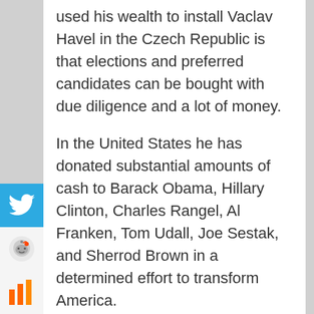used his wealth to install Vaclav Havel in the Czech Republic is that elections and preferred candidates can be bought with due diligence and a lot of money.
In the United States he has donated substantial amounts of cash to Barack Obama, Hillary Clinton, Charles Rangel, Al Franken, Tom Udall, Joe Sestak, and Sherrod Brown in a determined effort to transform America.
During the 2004 election cycle he donated “$23,581,000 to various liberal 527 Groups dedicated to defeating President George W. Bush. Soros contributed $3 million to the leftist propagandist Center for American